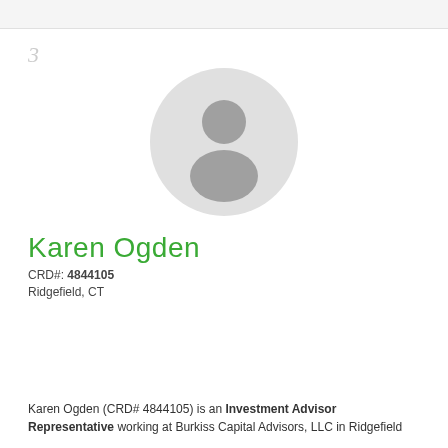3
[Figure (illustration): Circular avatar placeholder with a generic grey silhouette of a person on a light grey background]
Karen Ogden
CRD#: 4844105
Ridgefield, CT
Karen Ogden (CRD# 4844105) is an Investment Advisor Representative working at Burkiss Capital Advisors, LLC in Ridgefield